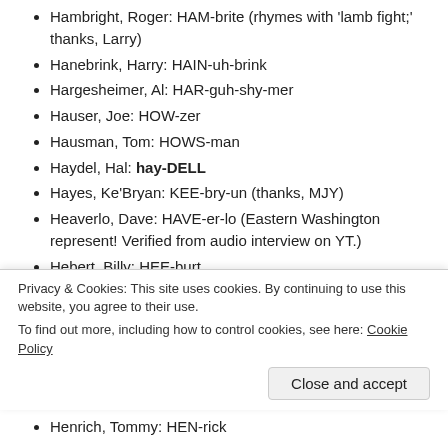Hambright, Roger: HAM-brite (rhymes with 'lamb fight;' thanks, Larry)
Hanebrink, Harry: HAIN-uh-brink
Hargesheimer, Al: HAR-guh-shy-mer
Hauser, Joe: HOW-zer
Hausman, Tom: HOWS-man
Haydel, Hal: hay-DELL
Hayes, Ke'Bryan: KEE-bry-un (thanks, MJY)
Heaverlo, Dave: HAVE-er-lo (Eastern Washington represent! Verified from audio interview on YT.)
Hebert, Billy: HEE-burt
Hebert, Wallace: EH-bare (the French way)
Heidemann, Jack: HIGH-da-man
Heilmann, Harry: HILL-man (like 'flo-zer')
Privacy & Cookies: This site uses cookies. By continuing to use this website, you agree to their use.
To find out more, including how to control cookies, see here: Cookie Policy
Henrich, Tommy: HEN-rick